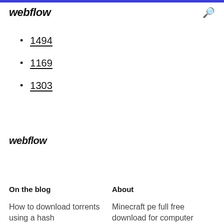webflow
1494
1169
1303
webflow
On the blog
About
How to download torrents using a hash
Minecraft pe full free download for computer